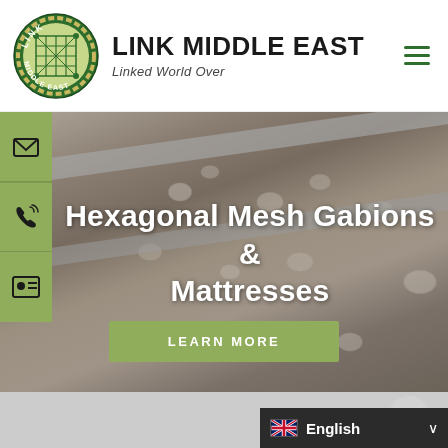[Figure (logo): Link Middle East circular logo with green rope border and mesh pattern in center]
LINK MIDDLE EAST
Linked World Over
[Figure (photo): Hexagonal mesh gabion wall retaining structure with rocks, showing terraced stone-filled wire mesh boxes along a roadway]
Hexagonal Mesh Gabions & Mattresses
LEARN MORE
English